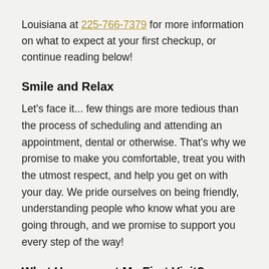Louisiana at 225-766-7379 for more information on what to expect at your first checkup, or continue reading below!
Smile and Relax
Let's face it... few things are more tedious than the process of scheduling and attending an appointment, dental or otherwise. That's why we promise to make you comfortable, treat you with the utmost respect, and help you get on with your day. We pride ourselves on being friendly, understanding people who know what you are going through, and we promise to support you every step of the way!
What Happens at My First Visit?